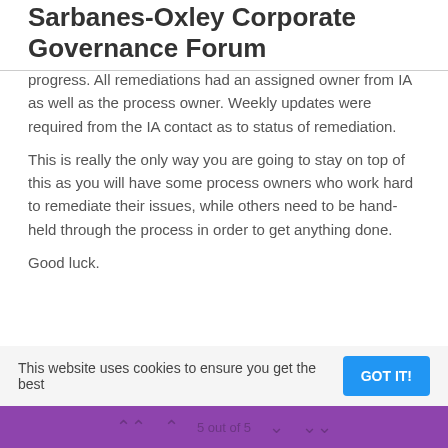Sarbanes-Oxley Corporate Governance Forum
progress. All remediations had an assigned owner from IA as well as the process owner. Weekly updates were required from the IA contact as to status of remediation.
This is really the only way you are going to stay on top of this as you will have some process owners who work hard to remediate their issues, while others need to be hand-held through the process in order to get anything done.
Good luck.
LOG IN TO REPLY
This website uses cookies to ensure you get the best
GOT IT!
5 out of 5